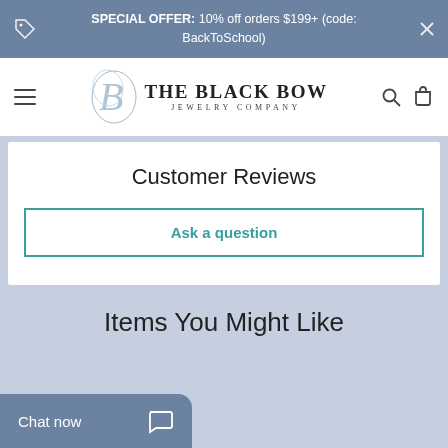SPECIAL OFFER: 10% off orders $199+ (code: BackToSchool)
[Figure (logo): The Black Bow Jewelry Company logo with decorative B monogram]
Customer Reviews
Ask a question
Items You Might Like
Chat now